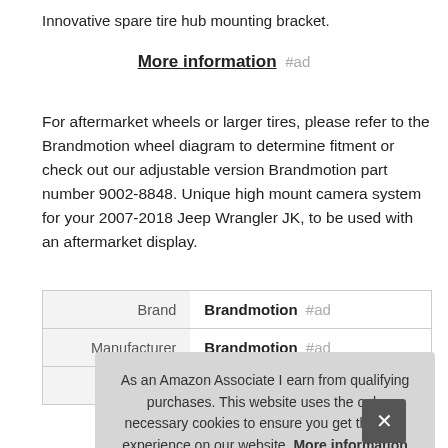Innovative spare tire hub mounting bracket.
More information #ad
For aftermarket wheels or larger tires, please refer to the Brandmotion wheel diagram to determine fitment or check out our adjustable version Brandmotion part number 9002-8848. Unique high mount camera system for your 2007-2018 Jeep Wrangler JK, to be used with an aftermarket display.
| Brand | Brandmotion #ad |
| Manufacturer | Brandmotion #ad |
As an Amazon Associate I earn from qualifying purchases. This website uses the only necessary cookies to ensure you get the best experience on our website. More information